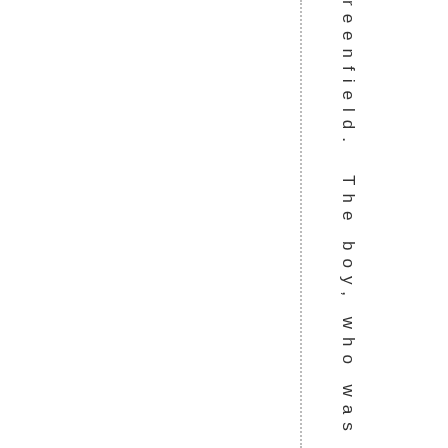reenfield. The boy, who was injure